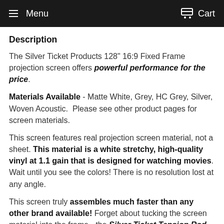Menu   Cart
Description
The Silver Ticket Products 128" 16:9 Fixed Frame projection screen offers powerful performance for the price.
Materials Available - Matte White, Grey, HC Grey, Silver, Woven Acoustic.  Please see other product pages for screen materials.
This screen features real projection screen material, not a sheet. This material is a white stretchy, high-quality vinyl at 1.1 gain that is designed for watching movies. Wait until you see the colors! There is no resolution lost at any angle.
This screen truly assembles much faster than any other brand available! Forget about tucking the screen material into the frame - the Silver Ticket Tension Rod System saves you time and frustration. How does the material connect to